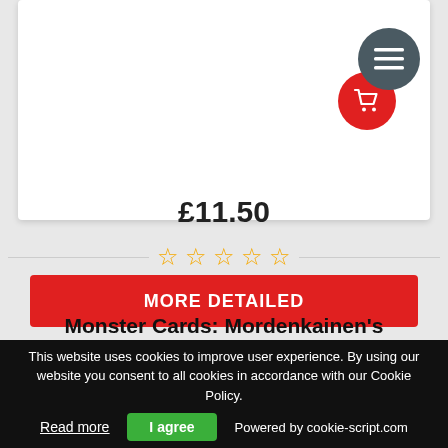£11.50
[Figure (other): Five empty star rating icons in gold/yellow outline]
MORE DETAILED
Monster Cards: Mordenkainen's Tome of Foes
This website uses cookies to improve user experience. By using our website you consent to all cookies in accordance with our Cookie Policy.
Read more
I agree
Powered by cookie-script.com